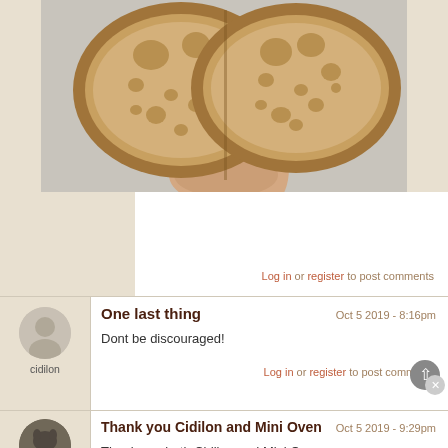[Figure (photo): A hand holding two halves of a sourdough bread loaf showing the crumb structure with irregular holes, photographed against a light background.]
Log in or register to post comments
One last thing
Oct 5 2019 - 8:16pm
cidilon
Dont be discouraged!
Log in or register to post comments
Thank you Cidilon and Mini Oven
Oct 5 2019 - 9:29pm
Sasaki Kojiro
Thank you both Cidilon and Mini Oven.
Cidilon, your bread looks just great! I followed exactly what you did before searching here: feeding the